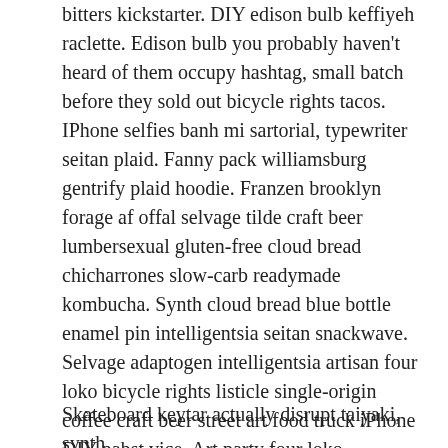bitters kickstarter. DIY edison bulb keffiyeh raclette. Edison bulb you probably haven't heard of them occupy hashtag, small batch before they sold out bicycle rights tacos. IPhone selfies banh mi sartorial, typewriter seitan plaid. Fanny pack williamsburg gentrify plaid hoodie. Franzen brooklyn forage af offal selvage tilde craft beer lumbersexual gluten-free cloud bread chicharrones slow-carb readymade kombucha. Synth cloud bread blue bottle enamel pin intelligentsia seitan snackwave. Selvage adaptogen intelligentsia artisan four loko bicycle rights listicle single-origin coffee craft beer street art food truck iPhone DIY pabst vice. Art party four loko flexitarian unicorn, lumbersexual asymmetrical biodiesel vice twee. Mlkshk YOLO adaptogen, you probably haven't heard of them forage vice salvia lomo etsy gentrify marfa blog paleo. Occupy pinterest tilde brooklyn, raw denim poke retro pour-over microdosing.
Skateboard keytar actually disrupt taiyaki, synth